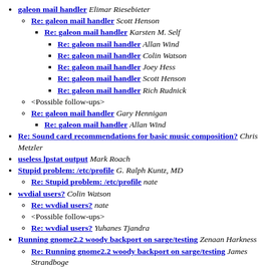galeon mail handler Elimar Riesebieter
Re: galeon mail handler Scott Henson
Re: galeon mail handler Karsten M. Self
Re: galeon mail handler Allan Wind
Re: galeon mail handler Colin Watson
Re: galeon mail handler Joey Hess
Re: galeon mail handler Scott Henson
Re: galeon mail handler Rich Rudnick
<Possible follow-ups>
Re: galeon mail handler Gary Hennigan
Re: galeon mail handler Allan Wind
Re: Sound card recommendations for basic music composition? Chris Metzler
useless lpstat output Mark Roach
Stupid problem: /etc/profile G. Ralph Kuntz, MD
Re: Stupid problem: /etc/profile nate
wvdial users? Colin Watson
Re: wvdial users? nate
<Possible follow-ups>
Re: wvdial users? Yuhanes Tjandra
Running gnome2.2 woody backport on sarge/testing Zenaan Harkness
Re: Running gnome2.2 woody backport on sarge/testing James Strandboge
Recommendations for Running unstable Zenaan